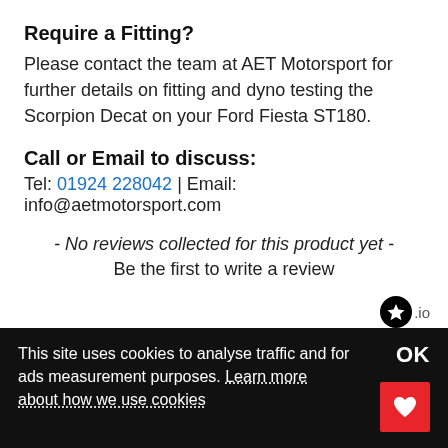Require a Fitting?
Please contact the team at AET Motorsport for further details on fitting and dyno testing the Scorpion Decat on your Ford Fiesta ST180.
Call or Email to discuss:
Tel: 01924 228042 | Email: info@aetmotorsport.com
- No reviews collected for this product yet -
Be the first to write a review
[Figure (logo): Trustpilot star badge with .io text]
This site uses cookies to analyse traffic and for ads measurement purposes. Learn more about how we use cookies
OK